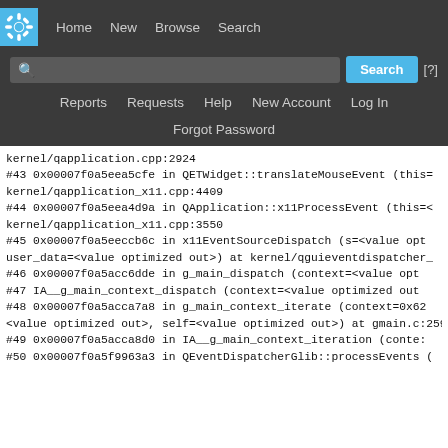KDE navigation bar with Home, New, Browse, Search links and search input
kernel/qapplication.cpp:2924
#43 0x00007f0a5eea5cfe in QETWidget::translateMouseEvent (this=
kernel/qapplication_x11.cpp:4409
#44 0x00007f0a5eea4d9a in QApplication::x11ProcessEvent (this=<
kernel/qapplication_x11.cpp:3550
#45 0x00007f0a5eeccb6c in x11EventSourceDispatch (s=<value opt
user_data=<value optimized out>) at kernel/qguieventdispatcher_
#46 0x00007f0a5acc6dde in g_main_dispatch (context=<value opt
#47 IA__g_main_context_dispatch (context=<value optimized out
#48 0x00007f0a5acca7a8 in g_main_context_iterate (context=0x62
<value optimized out>, self=<value optimized out>) at gmain.c:259
#49 0x00007f0a5acca8d0 in IA__g_main_context_iteration (conte:
#50 0x00007f0a5f9963a3 in QEventDispatcherGlib::processEvents (